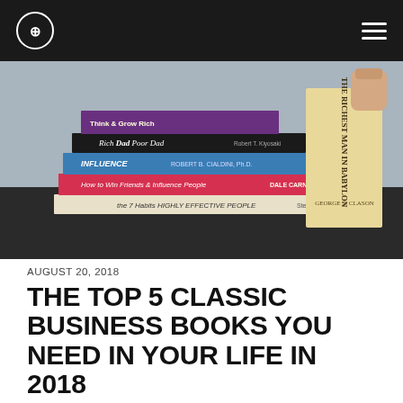[Figure (photo): Top navigation bar with circular logo (SH initials) on dark background and hamburger menu icon on right]
[Figure (photo): Stack of classic business books on a table including The Richest Man in Babylon, Rich Dad Poor Dad, Influence by Robert B. Cialdini, How to Win Friends & Influence People by Dale Carnegie, and The 7 Habits of Highly Effective People by Stephen R. Covey. A hand holds one book on the right.]
AUGUST 20, 2018
THE TOP 5 CLASSIC BUSINESS BOOKS YOU NEED IN YOUR LIFE IN 2018
ENTREPRENEUR